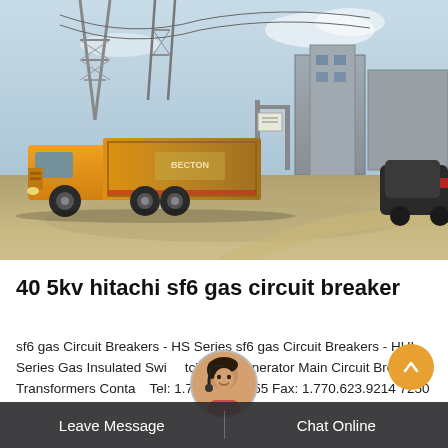[Figure (photo): Outdoor industrial/electrical substation scene with a yellow utility truck on the left, metal transmission tower structures in the background, grey industrial buildings on the right, and a dark SUV partially visible on the far right. Dirt/gravel ground in the foreground.]
40 5kv hitachi sf6 gas circuit breaker
sf6 gas Circuit Breakers - HS Series sf6 gas Circuit Breakers - HHI Series Gas Insulated Switchgear Generator Main Circuit Breakers Transformers Contact  Tel: 1.770.495.1755 Fax: 1.770.623.9214 7250 McGinnis Ferry Rd. Suwanee, GA 30024
Leave Message    Chat Online